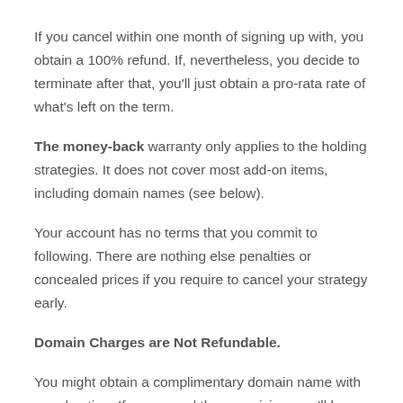If you cancel within one month of signing up with, you obtain a 100% refund. If, nevertheless, you decide to terminate after that, you'll just obtain a pro-rata rate of what's left on the term.
The money-back warranty only applies to the holding strategies. It does not cover most add-on items, including domain names (see below).
Your account has no terms that you commit to following. There are nothing else penalties or concealed prices if you require to cancel your strategy early.
Domain Charges are Not Refundable.
You might obtain a complimentary domain name with your hosting. If you cancel the organizing, you'll be billed for it. Yet you will certainly still have the domain and have the ability to finish with it as you please. After the required lockdown period, you can transfer